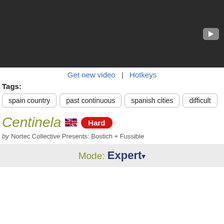[Figure (screenshot): Dark video player bar with play button icon in the top right corner]
Get new video | Hotkeys
Tags:
spain country
past continuous
spanish cities
difficult
Centinela [UK flag] Hard
by Nortec Collective Presents: Bostich + Fussible
Mode: Expert